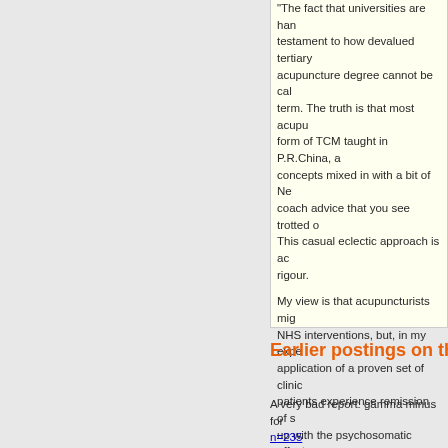"The fact that universities are hand testament to how devalued tertiary acupuncture degree cannot be cal term. The truth is that most acupu form of TCM taught in P.R.China, a concepts mixed in with a bit of Ne coach advice that you see trotted o This casual eclectic approach is ac rigour.

My view is that acupuncturists mig NHS interventions, but, in my expe application of a proven set of clinic patients experience remission of s up with the psychosomatic effects kindness. In that respect, the woo acupuncturists doesn't really matte meaning, a bit like hair-dressers. B doesn't mean hairdressers deserv they need to be regulated by the g somehow supposedly "vulnerable"
Earlier postings on the Pit
A very bad report: gamma minus for n=235